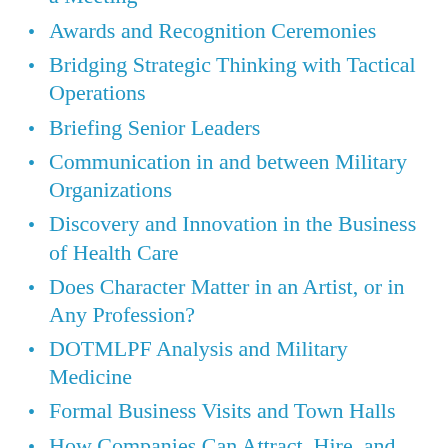a Meeting
Awards and Recognition Ceremonies
Bridging Strategic Thinking with Tactical Operations
Briefing Senior Leaders
Communication in and between Military Organizations
Discovery and Innovation in the Business of Health Care
Does Character Matter in an Artist, or in Any Profession?
DOTMLPF Analysis and Military Medicine
Formal Business Visits and Town Halls
How Companies Can Attract, Hire, and Retain Good Workers
How Much Do Leaders Care?
How to do No Harm